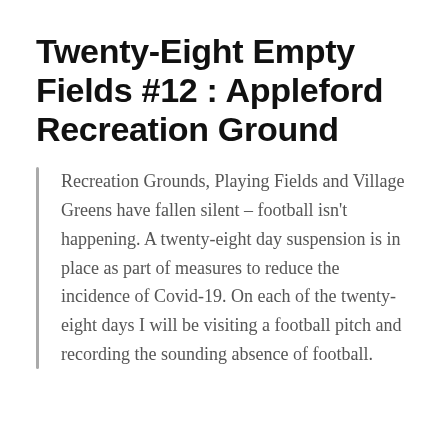Twenty-Eight Empty Fields #12 : Appleford Recreation Ground
Recreation Grounds, Playing Fields and Village Greens have fallen silent – football isn't happening. A twenty-eight day suspension is in place as part of measures to reduce the incidence of Covid-19. On each of the twenty-eight days I will be visiting a football pitch and recording the sounding absence of football.